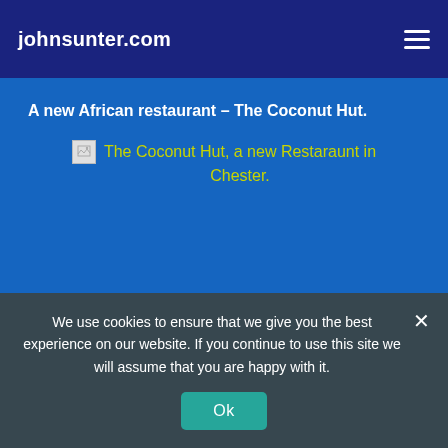johnsunter.com
A new African restaurant – The Coconut Hut.
[Figure (illustration): Broken image placeholder with alt text 'The Coconut Hut, a new Restaraunt in Chester.' shown in yellow-green text on blue background]
We use cookies to ensure that we give you the best experience on our website. If you continue to use this site we will assume that you are happy with it.